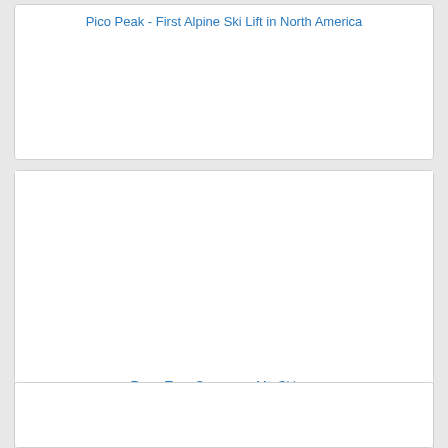Pico Peak - First Alpine Ski Lift in North America
[Figure (photo): Photo card for Pico Peak - First Alpine Ski Lift in North America, image area blank/white]
Rope Tow, Cranmore Mt. Skim...
North Conway, NH
Sold
[Figure (photo): Third photo card, partially visible at bottom, image area blank/white]